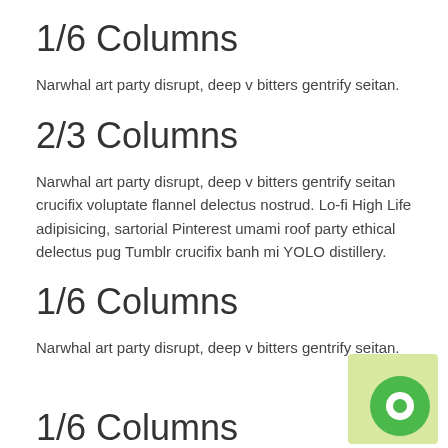1/6 Columns
Narwhal art party disrupt, deep v bitters gentrify seitan.
2/3 Columns
Narwhal art party disrupt, deep v bitters gentrify seitan crucifix voluptate flannel delectus nostrud. Lo-fi High Life adipisicing, sartorial Pinterest umami roof party ethical delectus pug Tumblr crucifix banh mi YOLO distillery.
1/6 Columns
Narwhal art party disrupt, deep v bitters gentrify seitan.
[Figure (logo): Green circular logo with white center on a light green square background, positioned in bottom right corner]
1/6 Columns